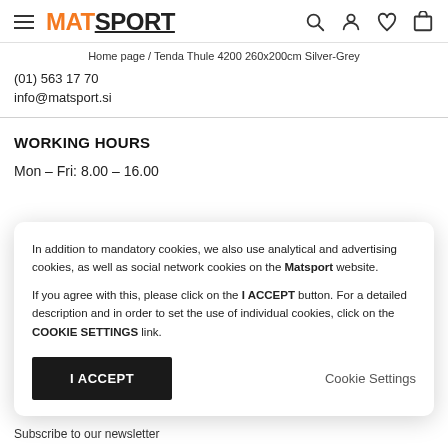MATSPORT — header with hamburger menu, logo, search, account, wishlist, cart icons
Home page / Tenda Thule 4200 260x200cm Silver-Grey
(01) 563 17 70
info@matsport.si
WORKING HOURS
Mon – Fri: 8.00 – 16.00
In addition to mandatory cookies, we also use analytical and advertising cookies, as well as social network cookies on the Matsport website.

If you agree with this, please click on the I ACCEPT button. For a detailed description and in order to set the use of individual cookies, click on the COOKIE SETTINGS link.
I ACCEPT
Cookie Settings
Subscribe to our newsletter